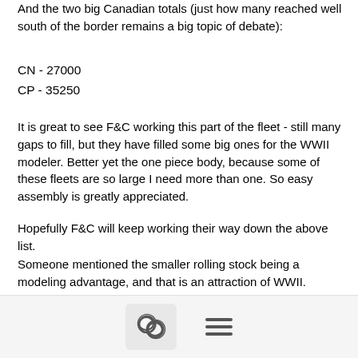And the two big Canadian totals (just how many reached well south of the border remains a big topic of debate):
CN  - 27000
CP  - 35250
It is great to see F&C working this part of the fleet - still many gaps to fill, but they have filled some big ones for the WWII modeler. Better yet the one piece body, because some of these fleets are so large I need more than one. So easy assembly is greatly appreciated.
Hopefully F&C will keep working their way down the above list.
Someone mentioned the smaller rolling stock being a modeling advantage, and that is an attraction of WWII. Remember that only the largest 50' box cars cubed more than today's 53' trailer vans that we drive right next too everyday (and are double stacked on today's trains). Freight cars grew considerably post war - at times think WWII US looked like TT scale next to modern US
[Figure (other): Bottom navigation bar with chat icon button and hamburger menu icon]